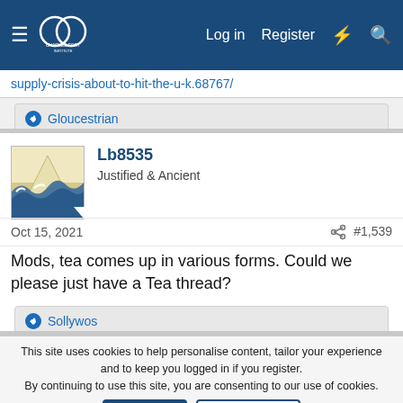Charles Fort Institute — Log in | Register
supply-crisis-about-to-hit-the-u-k.68767/
👍 Gloucestrian
Lb8535
Justified & Ancient
Oct 15, 2021   #1,539
Mods, tea comes up in various forms. Could we please just have a Tea thread?
👍 Sollywos
This site uses cookies to help personalise content, tailor your experience and to keep you logged in if you register.
By continuing to use this site, you are consenting to our use of cookies.